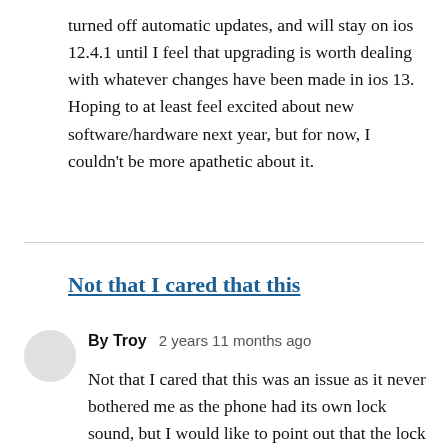turned off automatic updates, and will stay on ios 12.4.1 until I feel that upgrading is worth dealing with whatever changes have been made in ios 13. Hoping to at least feel excited about new software/hardware next year, but for now, I couldn't be more apathetic about it.
Not that I cared that this
By Troy   2 years 11 months ago
Not that I cared that this was an issue as it never bothered me as the phone had its own lock sound, but I would like to point out that the lock sound voiceover playes when you lock